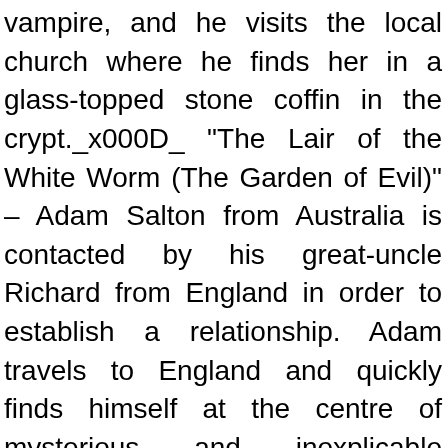vampire, and he visits the local church where he finds her in a glass-topped stone coffin in the crypt._x000D_ "The Lair of the White Worm (The Garden of Evil)" – Adam Salton from Australia is contacted by his great-uncle Richard from England in order to establish a relationship. Adam travels to England and quickly finds himself at the centre of mysterious and inexplicable occurrences._x000D_ "Dracula's Guest & Other Weird Stories" is a collection of nine macabre and gothic tales in which paintings come to life, rats run amok and many other twisted things occur:_x000D_ Dracula's Guest_x000D_ The Judge's House_x000D_ The Squaw_x000D_ The Secret of the Growing Gold_x000D_ A Gipsy Prophecy_x000D_ The Coming of Abel Behenna_x000D_ The Burial of the Rats_x000D_ A Dream of Red Hands_x000D_ Crooken Sands